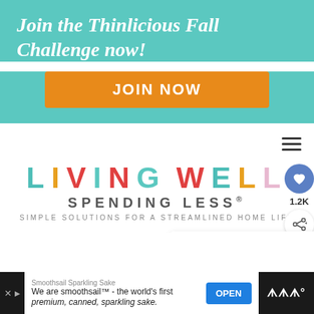Join the Thinlicious Fall Challenge now!
[Figure (other): Orange JOIN NOW button on teal background]
[Figure (logo): Living Well Spending Less logo with colorful letters and tagline: SIMPLE SOLUTIONS FOR A STREAMLINED HOME LIFE]
1.2K
WHAT'S NEXT → White Chocolate...
White Chocolate
Smoothsail Sparkling Sake — We are smoothsail™ - the world's first premium, canned, sparkling sake.
OPEN